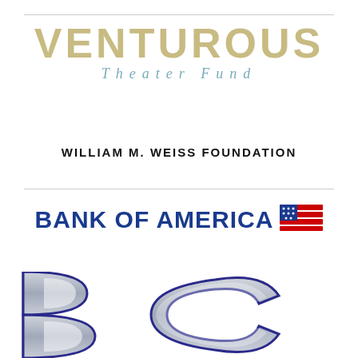[Figure (logo): Venturous Theater Fund logo — large tan/khaki bold uppercase VENTUROUS text with italic teal 'Theater Fund' below]
WILLIAM M. WEISS FOUNDATION
[Figure (logo): Bank of America logo — bold dark blue text 'BANK OF AMERICA' with red, white, and blue flag/banner icon to the right]
[Figure (logo): Partial large block letters 'BC' or similar in silver/grey with dark blue outline, cropped at bottom of page]